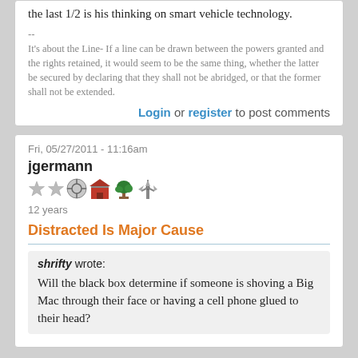the last 1/2 is his thinking on smart vehicle technology.
--
It's about the Line- If a line can be drawn between the powers granted and the rights retained, it would seem to be the same thing, whether the latter be secured by declaring that they shall not be abridged, or that the former shall not be extended.
Login or register to post comments
Fri, 05/27/2011 - 11:16am
jgermann
[Figure (illustration): User badges: two stars, a circular icon, a red barn, a bonsai tree, and a windmill]
12 years
Distracted Is Major Cause
shrifty wrote:
Will the black box determine if someone is shoving a Big Mac through their face or having a cell phone glued to their head?